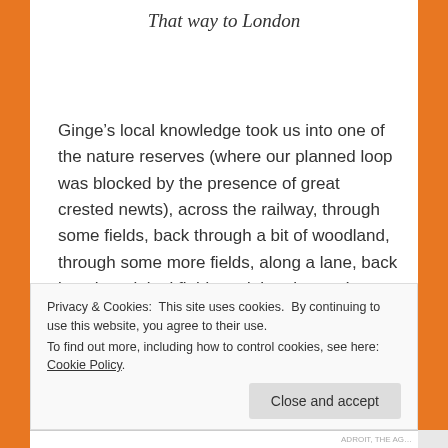That way to London
Ginge’s local knowledge took us into one of the nature reserves (where our planned loop was blocked by the presence of great crested newts), across the railway, through some fields, back through a bit of woodland, through some more fields, along a lane, back into the original fields and then home. It was a mix of paths, nearly paths and mud. There were quite a few stops to look at things, a few to marvel at how much more knackered we…
Privacy & Cookies: This site uses cookies. By continuing to use this website, you agree to their use.
To find out more, including how to control cookies, see here: Cookie Policy
Close and accept